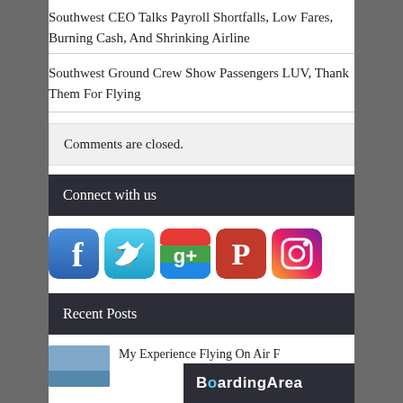Southwest CEO Talks Payroll Shortfalls, Low Fares, Burning Cash, And Shrinking Airline
Southwest Ground Crew Show Passengers LUV, Thank Them For Flying
Comments are closed.
Connect with us
[Figure (other): Social media icons: Facebook, Twitter, Google+, Pinterest, Instagram]
Recent Posts
My Experience Flying On Air F...